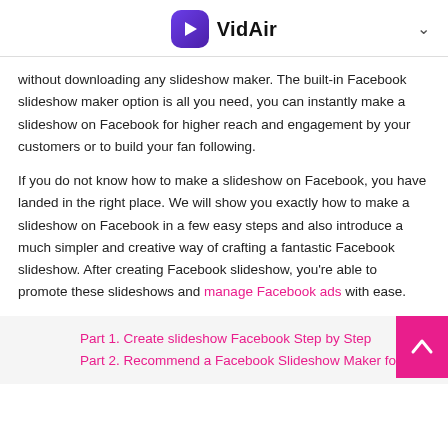VidAir
without downloading any slideshow maker. The built-in Facebook slideshow maker option is all you need, you can instantly make a slideshow on Facebook for higher reach and engagement by your customers or to build your fan following.
If you do not know how to make a slideshow on Facebook, you have landed in the right place. We will show you exactly how to make a slideshow on Facebook in a few easy steps and also introduce a much simpler and creative way of crafting a fantastic Facebook slideshow. After creating Facebook slideshow, you're able to promote these slideshows and manage Facebook ads with ease.
Part 1. Create slideshow Facebook Step by Step
Part 2. Recommend a Facebook Slideshow Maker for You